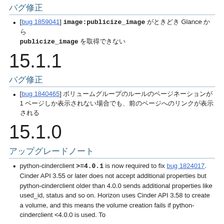バグ修正
[bug 1859041] image:publicize_image がときどき Glance から publicize_image を取得できない
15.1.1
バグ修正
[bug 1840465] ボリュームグループのルールのページネーションが 1 ページしか表示されない場合でも、前のページへのリンクが表示される
15.1.0
アップグレードノート
python-cinderclient >=4.0.1 is now required to fix bug 1824017. Cinder API 3.55 or later does not accept additional properties but python-cinderclient older than 4.0.0 sends additional properties like used_id, status and so on. Horizon uses Cinder API 3.58 to create a volume, and this means the volume creation fails if python-cinderclient <4.0.0 is used. To